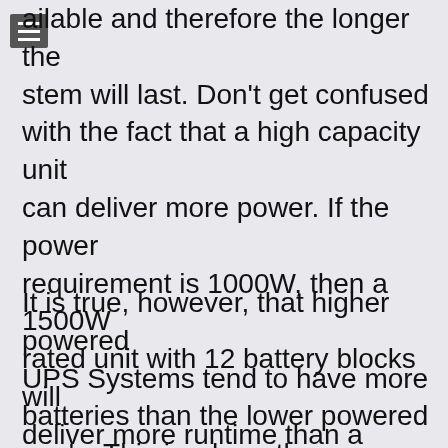ailable and therefore the longer the stem will last. Don't get confused with the fact that a high capacity unit can deliver more power. If the power requirement is 1000W, then a 1500W rated unit with 12 battery blocks will deliver more runtime than a 3000W unit with 6 battery blocks.
It is true, however, that higher powered UPS Systems tend to have more batteries than the lower powered one's. This is where the misconception has arisen, in that by using a larger UPS for a given application or load, you would have tended to have got